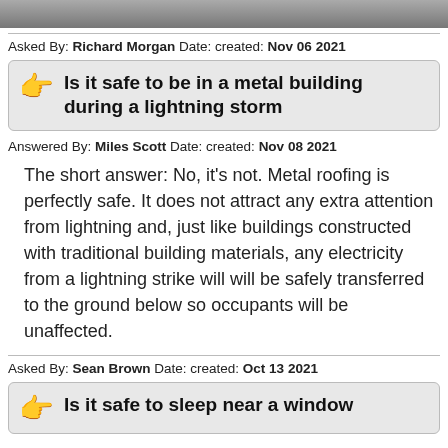[Figure (photo): Top image strip, partially visible photo]
Asked By: Richard Morgan Date: created: Nov 06 2021
Is it safe to be in a metal building during a lightning storm
Answered By: Miles Scott Date: created: Nov 08 2021
The short answer: No, it’s not. Metal roofing is perfectly safe. It does not attract any extra attention from lightning and, just like buildings constructed with traditional building materials, any electricity from a lightning strike will will be safely transferred to the ground below so occupants will be unaffected.
Asked By: Sean Brown Date: created: Oct 13 2021
Is it safe to sleep near a window